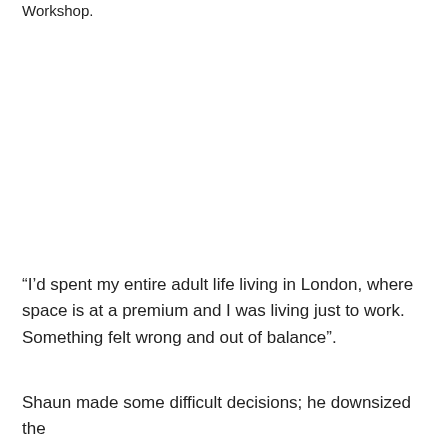Workshop.
“I’d spent my entire adult life living in London, where space is at a premium and I was living just to work. Something felt wrong and out of balance”.
Shaun made some difficult decisions; he downsized the